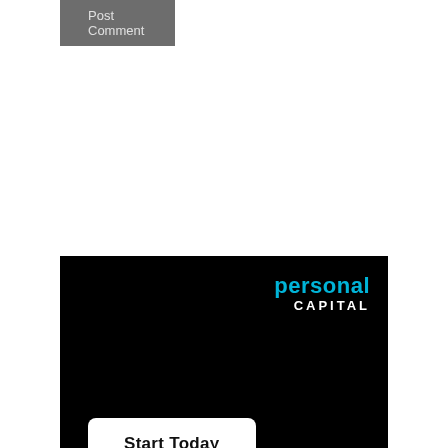[Figure (screenshot): A 'Post Comment' button rendered as a gray rectangular UI element at the top of the page.]
[Figure (logo): Personal Capital advertisement on a black background. Shows 'personal' in cyan/blue bold text and 'CAPITAL' in white bold uppercase tracking letters, with a 'Start Today' white rounded button at the bottom left.]